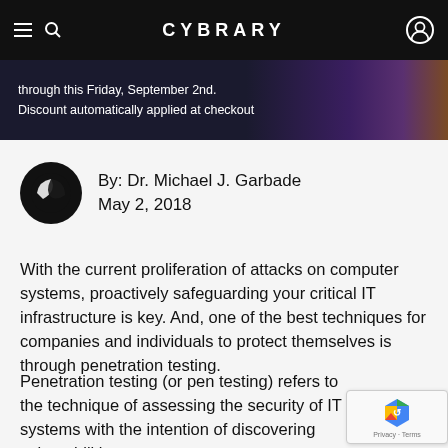CYBRARY
through this Friday, September 2nd. Discount automatically applied at checkout
By: Dr. Michael J. Garbade
May 2, 2018
With the current proliferation of attacks on computer systems, proactively safeguarding your critical IT infrastructure is key. And, one of the best techniques for companies and individuals to protect themselves is through penetration testing.
Penetration testing (or pen testing) refers to the technique of assessing the security of IT systems with the intention of discovering vulnerabilities—